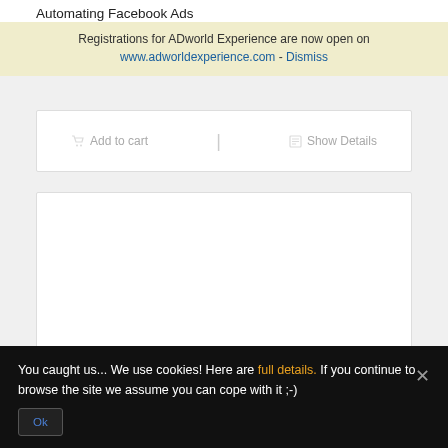Automating Facebook Ads
Registrations for ADworld Experience are now open on www.adworldexperience.com - Dismiss
Add to cart | Show Details
[Figure (other): White content box placeholder area]
You caught us... We use cookies! Here are full details. If you continue to browse the site we assume you can cope with it ;-) Ok